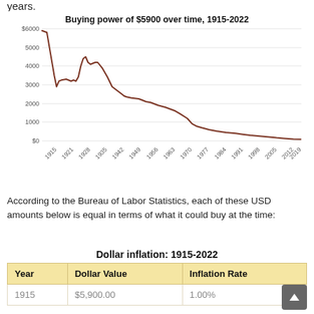years.
[Figure (line-chart): Buying power of $5900 over time, 1915-2022]
According to the Bureau of Labor Statistics, each of these USD amounts below is equal in terms of what it could buy at the time:
Dollar inflation: 1915-2022
| Year | Dollar Value | Inflation Rate |
| --- | --- | --- |
| 1915 | $5,900.00 | 1.00% |